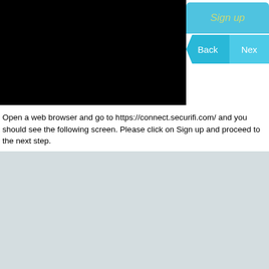[Figure (screenshot): Top navigation bar with black background on left, cyan 'Sign up' button top-right, and Back/Next navigation buttons below]
Open a web browser and go to https://connect.securifi.com/ and you should see the following screen. Please click on Sign up and proceed to the next step.
[Figure (screenshot): Screenshot of Almond login page with light gray background, showing 'Almond' title, 'Easily Automate your home.' subtitle, and a login form with Email and Password fields]